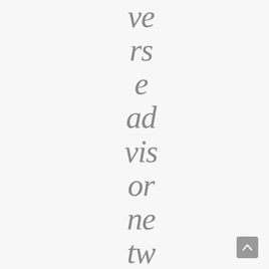verse advisor network
[Figure (other): Scroll to top button in bottom right corner]